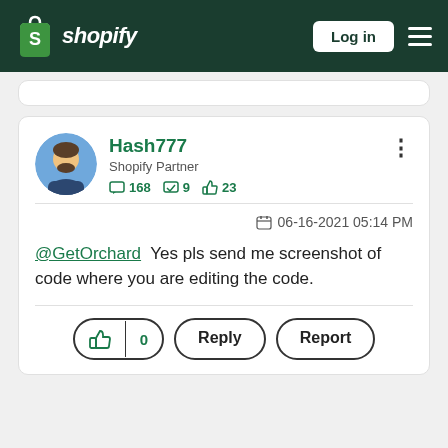Shopify — Log in
Hash777
Shopify Partner
168  9  23
06-16-2021 05:14 PM
@GetOrchard  Yes pls send me screenshot of code where you are editing the code.
0  Reply  Report